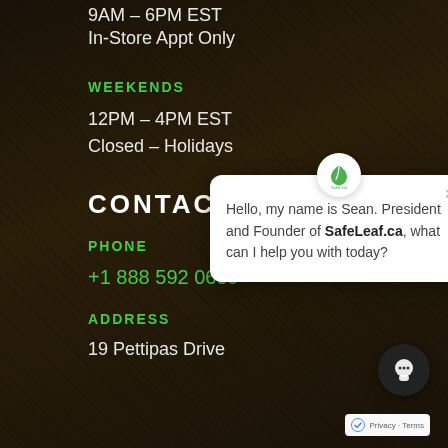9AM – 6PM EST
In-Store Appt Only
WEEKENDS
12PM – 4PM EST
Closed – Holidays
CONTACT
PHONE
+1 888 592 0609
ADDRESS
19 Pettipas Drive
[Figure (screenshot): Chat popup with SafeLeaf logo, close button (×), and message: Hello, my name is Sean. President and Founder of SafeLeaf.ca, what can I help you with today?]